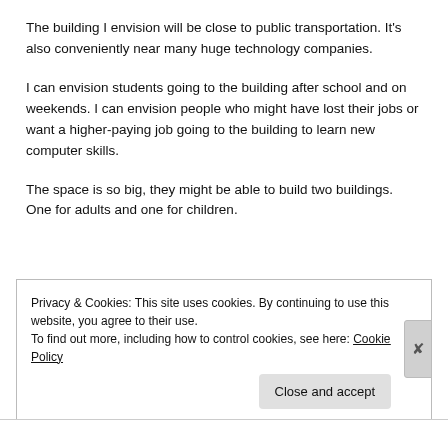The building I envision will be close to public transportation. It's also conveniently near many huge technology companies.
I can envision students going to the building after school and on weekends. I can envision people who might have lost their jobs or want a higher-paying job going to the building to learn new computer skills.
The space is so big, they might be able to build two buildings. One for adults and one for children.
Privacy & Cookies: This site uses cookies. By continuing to use this website, you agree to their use.
To find out more, including how to control cookies, see here: Cookie Policy
Close and accept